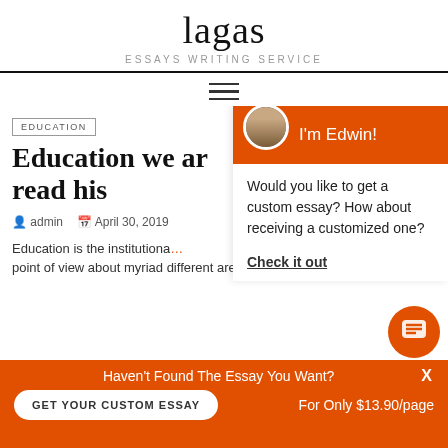lagas
ESSAYS WRITING SERVICE
[Figure (other): Hamburger menu icon (three horizontal lines)]
EDUCATION
Education we ar read his
admin   April 30, 2019
Education is the institutiona … point of view about myriad different areas of knowledg…
[Figure (photo): Orange banner with circular avatar photo of a bearded man and text "I'm Edwin!"]
Would you like to get a custom essay? How about receiving a customized one?
Check it out
Haven't Found The Essay You Want?
GET YOUR CUSTOM ESSAY   For Only $13.90/page